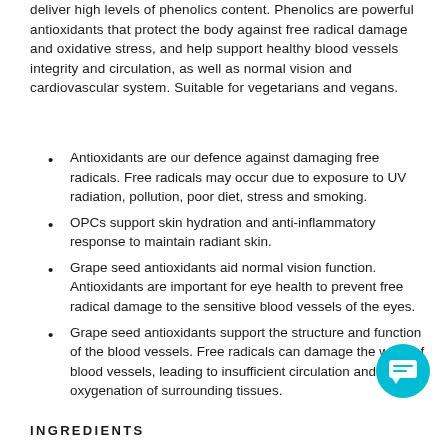deliver high levels of phenolics content. Phenolics are powerful antioxidants that protect the body against free radical damage and oxidative stress, and help support healthy blood vessels integrity and circulation, as well as normal vision and cardiovascular system. Suitable for vegetarians and vegans.
Antioxidants are our defence against damaging free radicals. Free radicals may occur due to exposure to UV radiation, pollution, poor diet, stress and smoking.
OPCs support skin hydration and anti-inflammatory response to maintain radiant skin.
Grape seed antioxidants aid normal vision function. Antioxidants are important for eye health to prevent free radical damage to the sensitive blood vessels of the eyes.
Grape seed antioxidants support the structure and function of the blood vessels. Free radicals can damage the walls of blood vessels, leading to insufficient circulation and poor oxygenation of surrounding tissues.
[Figure (illustration): Cyan circular chat/message icon button in bottom right corner]
INGREDIENTS